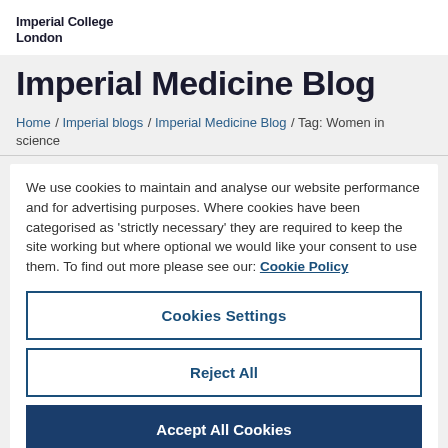Imperial College
London
Imperial Medicine Blog
Home / Imperial blogs / Imperial Medicine Blog / Tag: Women in science
We use cookies to maintain and analyse our website performance and for advertising purposes. Where cookies have been categorised as 'strictly necessary' they are required to keep the site working but where optional we would like your consent to use them. To find out more please see our: Cookie Policy
Cookies Settings
Reject All
Accept All Cookies